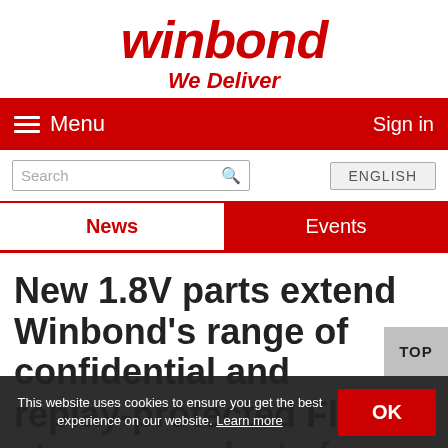[Figure (logo): Winbond logo with italic bold red text 'winbond' and tagline 'We Deliver' in red italic below]
Menu   Sign in
Search   ENGLISH
News   Events
New 1.8V parts extend Winbond's range of confidential and replay-protected Flash storage products for
TOP
This website uses cookies to ensure you get the best experience on our website. Learn more   OK